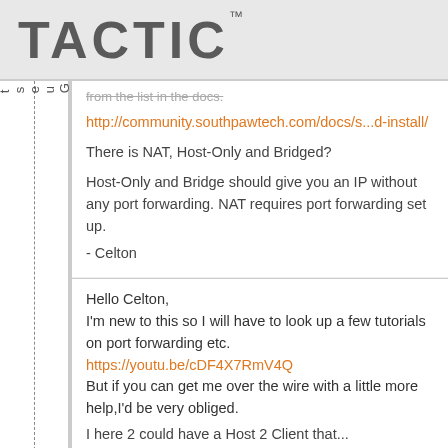TACTIC™
from the list in the docs.
http://community.southpawtech.com/docs/s...d-install/
There is NAT, Host-Only and Bridged?
Host-Only and Bridge should give you an IP without any port forwarding. NAT requires port forwarding set up.
- Celton
Hello Celton,
I'm new to this so I will have to look up a few tutorials on port forwarding etc.
https://youtu.be/cDF4X7RmV4Q
But if you can get me over the wire with a little more help,I'd be very obliged.
I here 2 could have a Host 2 Client that...